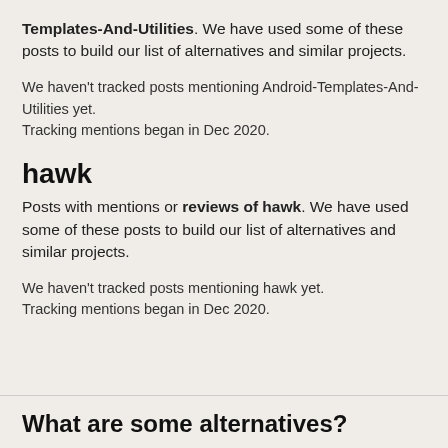Templates-And-Utilities. We have used some of these posts to build our list of alternatives and similar projects.
We haven't tracked posts mentioning Android-Templates-And-Utilities yet.
Tracking mentions began in Dec 2020.
hawk
Posts with mentions or reviews of hawk. We have used some of these posts to build our list of alternatives and similar projects.
We haven't tracked posts mentioning hawk yet.
Tracking mentions began in Dec 2020.
What are some alternatives?